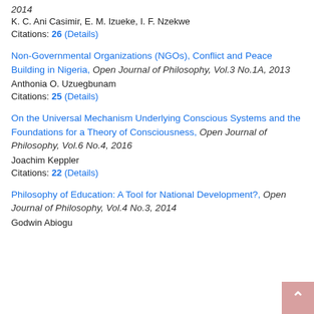2014
K. C. Ani Casimir, E. M. Izueke, I. F. Nzekwe
Citations: 26 (Details)
Non-Governmental Organizations (NGOs), Conflict and Peace Building in Nigeria, Open Journal of Philosophy, Vol.3 No.1A, 2013
Anthonia O. Uzuegbunam
Citations: 25 (Details)
On the Universal Mechanism Underlying Conscious Systems and the Foundations for a Theory of Consciousness, Open Journal of Philosophy, Vol.6 No.4, 2016
Joachim Keppler
Citations: 22 (Details)
Philosophy of Education: A Tool for National Development?, Open Journal of Philosophy, Vol.4 No.3, 2014
Godwin Abiogu